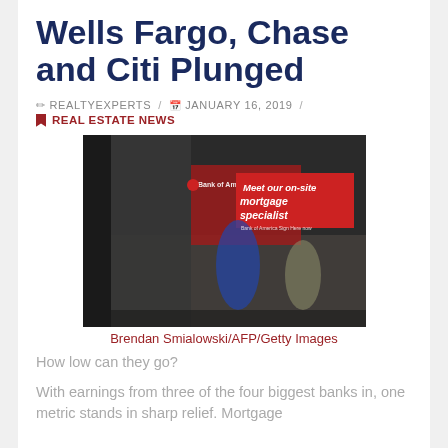Wells Fargo, Chase and Citi Plunged
REALTYEXPERTS / JANUARY 16, 2019 /
REAL ESTATE NEWS
[Figure (photo): Bank of America branch window reflection showing a red banner that reads 'Meet our on-site mortgage specialist']
Brendan Smialowski/AFP/Getty Images
How low can they go?
With earnings from three of the four biggest banks in, one metric stands in sharp relief. Mortgage